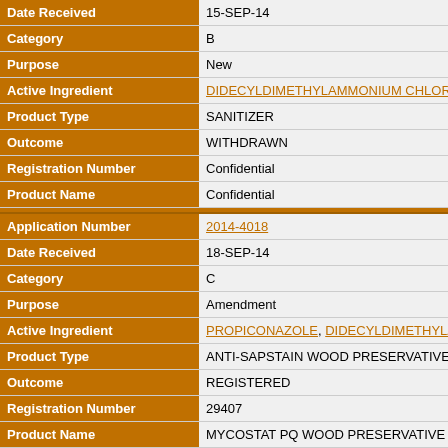| Field | Value |
| --- | --- |
| Date Received | 15-SEP-14 |
| Category | B |
| Purpose | New |
| Active Ingredient | DIDECYLDIMETHYLAMMONIUM CHLORIDE |
| Product Type | SANITIZER |
| Outcome | WITHDRAWN |
| Registration Number | Confidential |
| Product Name | Confidential |
| Application Number | 2014-4018 |
| Date Received | 18-SEP-14 |
| Category | C |
| Purpose | Amendment |
| Active Ingredient | PROPICONAZOLE, DIDECYLDIMETHYLAMM... |
| Product Type | ANTI-SAPSTAIN WOOD PRESERVATIVE |
| Outcome | REGISTERED |
| Registration Number | 29407 |
| Product Name | MYCOSTAT PQ WOOD PRESERVATIVE TREA... |
| Application Number | 2014-3594 |
| Date Received | 05-SEP-14 |
| Category | B |
| Purpose | New |
| Active Ingredient | ALKYL(40% C12, 50% C14, 10% C16)DIMETH... / DIDECYLDIMETHYLAMMONIUM CHLORIDE |